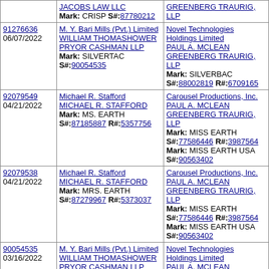| Case #/Date | Plaintiff | Defendant |
| --- | --- | --- |
|  | JACOBS LAW LLC
Mark: CRISP S#:87780212 | GREENBERG TRAURIG, LLP |
| 91276636
06/07/2022 | M. Y. Bari Mills (Pvt.) Limited
WILLIAM THOMASHOWER
PRYOR CASHMAN LLP
Mark: SILVERTAC
S#:90054535 | Novel Technologies Holdings Limited
PAUL A. MCLEAN
GREENBERG TRAURIG, LLP
Mark: SILVERBAC
S#:88002819 R#:6709165 |
| 92079549
04/21/2022 | Michael R. Stafford
MICHAEL R. STAFFORD
Mark: MS. EARTH
S#:87185887 R#:5357756 | Carousel Productions, Inc.
PAUL A. MCLEAN
GREENBERG TRAURIG, LLP
Mark: MISS EARTH
S#:77586446 R#:3987564
Mark: MISS EARTH USA
S#:90563402 |
| 92079538
04/21/2022 | Michael R. Stafford
MICHAEL R. STAFFORD
Mark: MRS. EARTH
S#:87279967 R#:5373037 | Carousel Productions, Inc.
PAUL A. MCLEAN
GREENBERG TRAURIG, LLP
Mark: MISS EARTH
S#:77586446 R#:3987564
Mark: MISS EARTH USA
S#:90563402 |
| 90054535
03/16/2022 | M. Y. Bari Mills (Pvt.) Limited
WILLIAM THOMASHOWER
PRYOR CASHMAN LLP
Mark: SILVERTAC
S#:90054535 | Novel Technologies Holdings Limited
PAUL A. MCLEAN
GREENBERG TRAURIG, LLP |
| 91273733
... | Dean Lee Carson dba ... | Novel Technologies Holdings Limited |